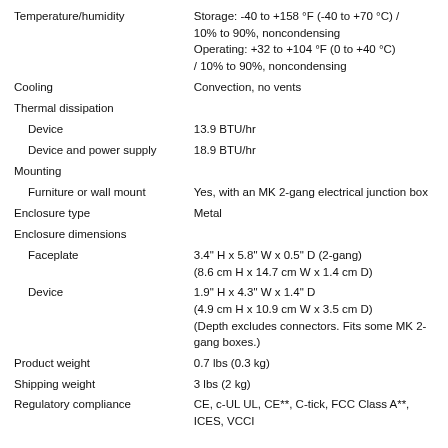| Property | Value |
| --- | --- |
| Temperature/humidity | Storage: -40 to +158 °F (-40 to +70 °C) / 10% to 90%, noncondensing
Operating: +32 to +104 °F (0 to +40 °C) / 10% to 90%, noncondensing |
| Cooling | Convection, no vents |
| Thermal dissipation |  |
|   Device | 13.9 BTU/hr |
|   Device and power supply | 18.9 BTU/hr |
| Mounting |  |
|   Furniture or wall mount | Yes, with an MK 2-gang electrical junction box |
| Enclosure type | Metal |
| Enclosure dimensions |  |
|   Faceplate | 3.4" H x 5.8" W x 0.5" D (2-gang)
(8.6 cm H x 14.7 cm W x 1.4 cm D) |
|   Device | 1.9" H x 4.3" W x 1.4" D
(4.9 cm H x 10.9 cm W x 3.5 cm D)
(Depth excludes connectors. Fits some MK 2-gang boxes.) |
| Product weight | 0.7 lbs (0.3 kg) |
| Shipping weight | 3 lbs (2 kg) |
| Regulatory compliance | CE, c-UL UL, CE**, C-tick, FCC Class A**, ICES, VCCI |